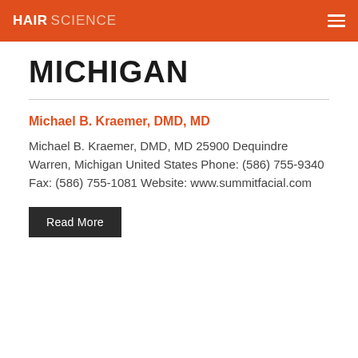HAIR SCIENCE
MICHIGAN
Michael B. Kraemer, DMD, MD
Michael B. Kraemer, DMD, MD 25900 Dequindre Warren, Michigan United States Phone: (586) 755-9340 Fax: (586) 755-1081 Website: www.summitfacial.com
Read More